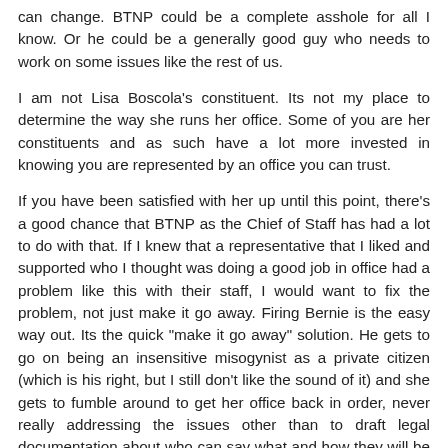can change. BTNP could be a complete asshole for all I know. Or he could be a generally good guy who needs to work on some issues like the rest of us.
I am not Lisa Boscola's constituent. Its not my place to determine the way she runs her office. Some of you are her constituents and as such have a lot more invested in knowing you are represented by an office you can trust.
If you have been satisfied with her up until this point, there's a good chance that BTNP as the Chief of Staff has had a lot to do with that. If I knew that a representative that I liked and supported who I thought was doing a good job in office had a problem like this with their staff, I would want to fix the problem, not just make it go away. Firing Bernie is the easy way out. Its the quick "make it go away" solution. He gets to go on being an insensitive misogynist as a private citizen (which is his right, but I still don't like the sound of it) and she gets to fumble around to get her office back in order, never really addressing the issues other than to draft legal documentation about who can say what and how they will be disciplined if this happens again in the